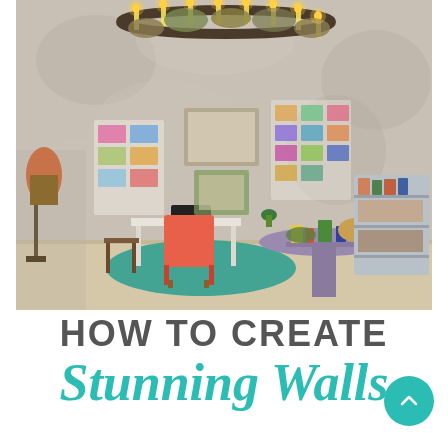[Figure (photo): Interior of a rustic bohemian shop or studio space with a distressed plaster wall, a large circular chandelier decorated with dried flowers, a coral/pink chair at a white desk, a teal shag rug, a round purple table with items on it, shelving units with products, and various wall displays with cards and artwork.]
HOW TO CREATE Stunning Walls